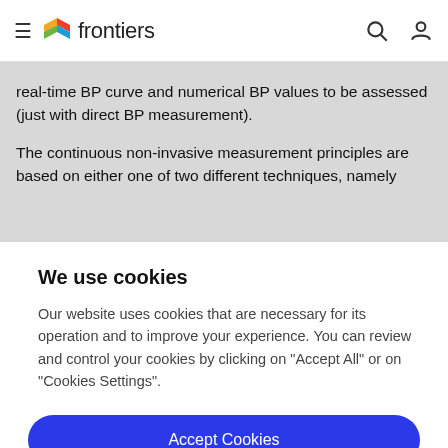frontiers
real-time BP curve and numerical BP values to be assessed (just with direct BP measurement).
The continuous non-invasive measurement principles are based on either one of two different techniques, namely
We use cookies
Our website uses cookies that are necessary for its operation and to improve your experience. You can review and control your cookies by clicking on "Accept All" or on "Cookies Settings".
Accept Cookies
Cookies Settings